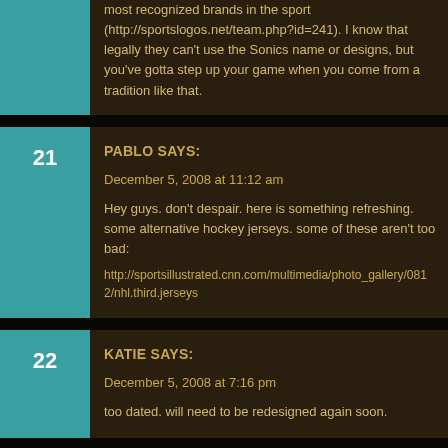most recognized brands in the sport (http://sportslogos.net/team.php?id=241). I know that legally they can't use the Sonics name or designs, but you've gotta step up your game when you come from a tradition like that.
PABLO SAYS:
December 5, 2008 at 11:12 am
Hey guys. don't despair. here is something refreshing. some alternative hockey jerseys. some of these aren't too bad:
http://sportsillustrated.cnn.com/multimedia/photo_gallery/0812/nhl.third.jerseys
KATIE SAYS:
December 5, 2008 at 7:16 pm
too dated. will need to be redesigned again soon.
JDAVIS SAYS:
December 5, 2008 at 9:37 pm
I saw Aaron's post the other day and was really impressed with the